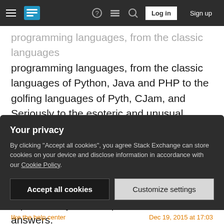Stack Exchange navigation bar with hamburger menu, logo, help, chat, search icons, Log in and Sign up buttons
programming languages, from the classic languages of Python, Java and PHP to the golfing languages of Pyth, CJam, and Seriously to the esoteric and unusual languages of Brainfuck, ><>, and Labyrinth, among many many many others. Questions are designed to be high-quality so they attract high-quality answers. In my opinion, good questions should have reputation systems equivalent to that of answers.
Share   Follow   edited Jun 17, 2020 at 0:02
Your privacy
By clicking "Accept all cookies", you agree Stack Exchange can store cookies on your device and disclose information in accordance with our Cookie Policy.
Accept all cookies   Customize settings